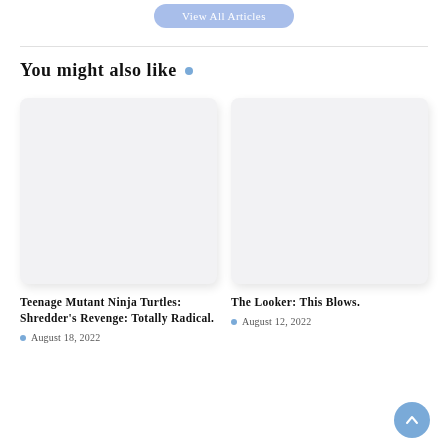View All Articles
You might also like •
[Figure (other): Blank light gray card image placeholder for Teenage Mutant Ninja Turtles: Shredder's Revenge: Totally Radical article]
Teenage Mutant Ninja Turtles: Shredder's Revenge: Totally Radical.
• August 18, 2022
[Figure (other): Blank light gray card image placeholder for The Looker: This Blows. article]
The Looker: This Blows.
• August 12, 2022